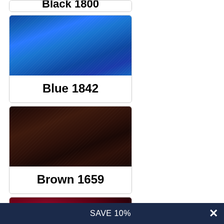[Figure (photo): Partial card at top showing bottom edge with text 'Black 1800' (truncated, only bottom visible)]
[Figure (photo): Product card showing blue thread swatch with label 'Blue 1842']
[Figure (photo): Product card showing dark brown thread/leather swatch with label 'Brown 1659']
[Figure (photo): Product card showing burgundy/wine colored swatch with label 'Burgundy 1784']
SAVE 10%  ×